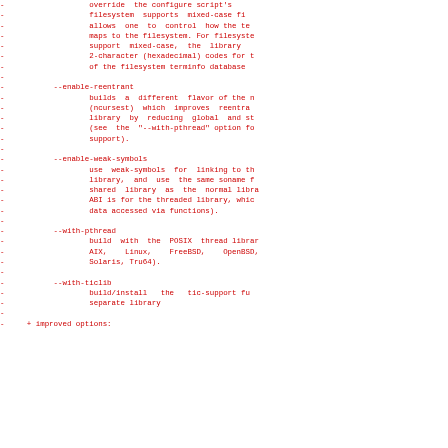-                   override  the configure script's
-                   filesystem  supports  mixed-case fi
-                   allows  one  to  control  how the te
-                   maps to the filesystem. For filesyste
-                   support  mixed-case,  the  library
-                   2-character (hexadecimal) codes for t
-                   of the filesystem terminfo database
-
-           --enable-reentrant
-                   builds  a  different  flavor of the n
-                   (ncursest)  which  improves  reentra
-                   library  by  reducing  global  and st
-                   (see  the  "--with-pthread" option fo
-                   support).
-
-           --enable-weak-symbols
-                   use  weak-symbols  for  linking to th
-                   library,  and  use  the same soname f
-                   shared  library  as  the  normal libra
-                   ABI is for the threaded library, whic
-                   data accessed via functions).
-
-           --with-pthread
-                   build  with  the  POSIX  thread librar
-                   AIX,    Linux,    FreeBSD,    OpenBSD,
-                   Solaris, Tru64).
-
-           --with-ticlib
-                   build/install   the   tic-support fu
-                   separate library
-
-     + improved options: